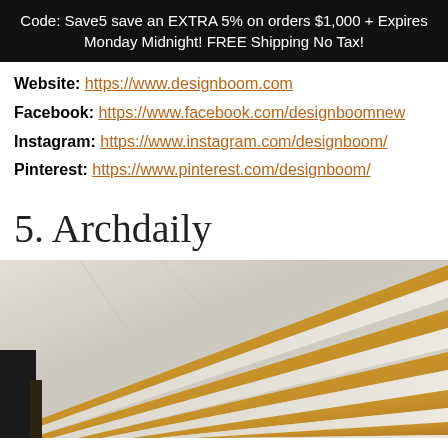Code: Save5 save an EXTRA 5% on orders $1,000 + Expires Monday Midnight! FREE Shipping No Tax!
Website: https://www.designboom.com
Facebook: https://www.facebook.com/designboomnew
Instagram: https://www.instagram.com/designboom/
Pinterest: https://www.pinterest.com/designboom/
5. Archdaily
[Figure (photo): Architectural interior photo showing radiating golden/brass structural ribs or fins against a marble/stone background, viewed from below at an angle.]